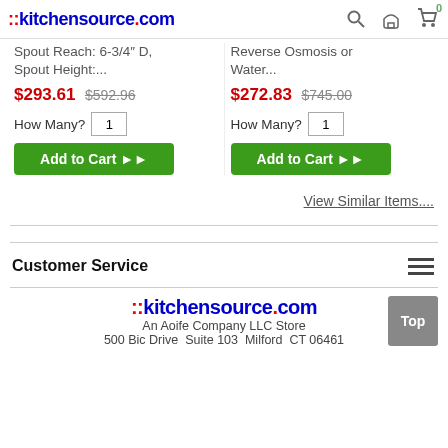::kitchensource.com
Spout Reach: 6-3/4″ D, Spout Height:...
$293.61  $592.96
How Many? 1
Add to Cart ▶▶
Reverse Osmosis or Water...
$272.83  $745.00
How Many? 1
Add to Cart ▶▶
View Similar Items....
Customer Service
::kitchensource.com
An Aoife Company LLC Store
500 Bic Drive  Suite 103  Milford  CT 06461